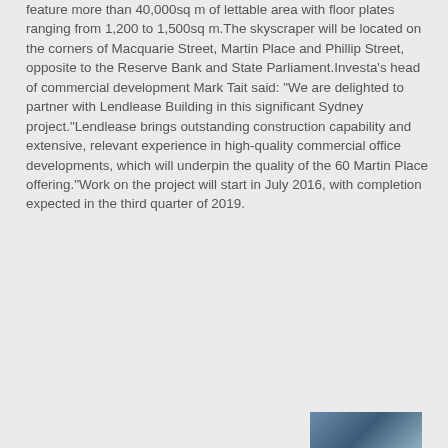feature more than 40,000sq m of lettable area with floor plates ranging from 1,200 to 1,500sq m.The skyscraper will be located on the corners of Macquarie Street, Martin Place and Phillip Street, opposite to the Reserve Bank and State Parliament.Investa's head of commercial development Mark Tait said: “We are delighted to partner with Lendlease Building in this significant Sydney project.“Lendlease brings outstanding construction capability and extensive, relevant experience in high-quality commercial office developments, which will underpin the quality of the 60 Martin Place offering.”Work on the project will start in July 2016, with completion expected in the third quarter of 2019.
[Figure (photo): Partial photograph visible at bottom right of page, showing what appears to be a building or construction scene.]